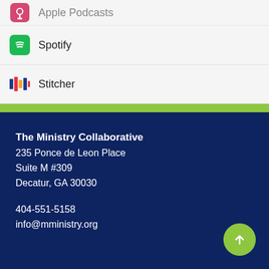Spotify
Stitcher
The Ministry Collaborative
235 Ponce de Leon Place
Suite M #309
Decatur, GA 30030

404-551-5158
info@mministry.org